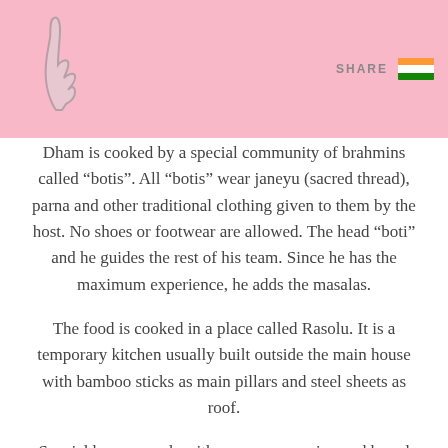SHARE
Dham is cooked by a special community of brahmins called “botis”. All “botis” wear janeyu (sacred thread), parna and other traditional clothing given to them by the host. No shoes or footwear are allowed. The head “boti” and he guides the rest of his team. Since he has the maximum experience, he adds the masalas.
The food is cooked in a place called Rasolu. It is a temporary kitchen usually built outside the main house with bamboo sticks as main pillars and steel sheets as roof.
Special brass vessels with a narrow opening and broad base (like pitcher shape) known as ‘Charoti’ or ‘Batloi’ are used. Mostly, every house in a village/town has such